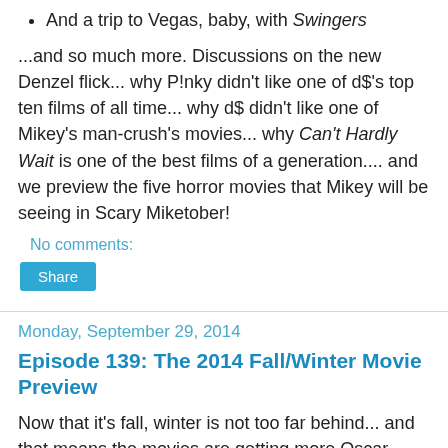And a trip to Vegas, baby, with Swingers
...and so much more. Discussions on the new Denzel flick... why P!nky didn't like one of d$'s top ten films of all time... why d$ didn't like one of Mikey's man-crush's movies... why Can't Hardly Wait is one of the best films of a generation.... and we preview the five horror movies that Mikey will be seeing in Scary Miketober!
No comments:
Share
Monday, September 29, 2014
Episode 139: The 2014 Fall/Winter Movie Preview
Now that it's fall, winter is not too far behind... and that means the movies are getting more Oscar worthy and